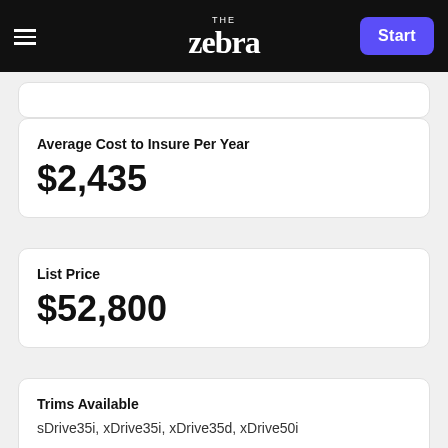THE zebra | Start
Average Cost to Insure Per Year
$2,435
List Price
$52,800
Trims Available
sDrive35i, xDrive35i, xDrive35d, xDrive50i